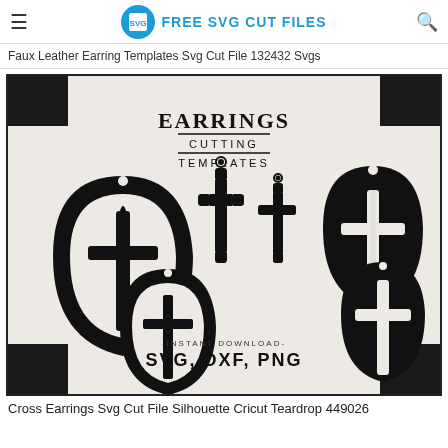[Figure (logo): Free SVG Cut Files logo with hamburger menu and search icon]
Faux Leather Earring Templates Svg Cut File 132432 Svgs
[Figure (photo): Cross earring SVG cut file templates showing teardrop and cross shaped earrings in black silhouette with EARRINGS CUTTING TEMPLATES text and SVG, DXF, PNG instant download label]
Cross Earrings Svg Cut File Silhouette Cricut Teardrop 449026